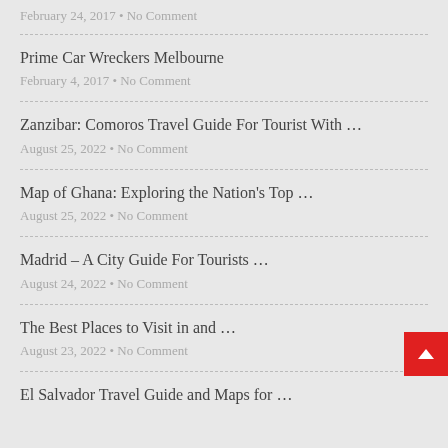February 24, 2017 • No Comment
Prime Car Wreckers Melbourne
February 4, 2017 • No Comment
Zanzibar: Comoros Travel Guide For Tourist With …
August 25, 2022 • No Comment
Map of Ghana: Exploring the Nation's Top …
August 25, 2022 • No Comment
Madrid – A City Guide For Tourists …
August 24, 2022 • No Comment
The Best Places to Visit in and …
August 23, 2022 • No Comment
El Salvador Travel Guide and Maps for …